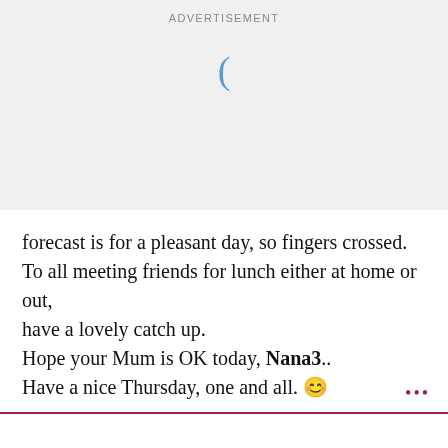[Figure (other): Advertisement banner at top with loading icon]
forecast is for a pleasant day, so fingers crossed.
To all meeting friends for lunch either at home or out, have a lovely catch up.
Hope your Mum is OK today, Nana3..
Have a nice Thursday, one and all. 😊
[Figure (other): Empty white content area with advertisement label below]
Active | Watching | Home | I'm on | Search